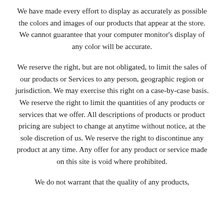We have made every effort to display as accurately as possible the colors and images of our products that appear at the store. We cannot guarantee that your computer monitor's display of any color will be accurate.
We reserve the right, but are not obligated, to limit the sales of our products or Services to any person, geographic region or jurisdiction. We may exercise this right on a case-by-case basis. We reserve the right to limit the quantities of any products or services that we offer. All descriptions of products or product pricing are subject to change at anytime without notice, at the sole discretion of us. We reserve the right to discontinue any product at any time. Any offer for any product or service made on this site is void where prohibited.
We do not warrant that the quality of any products,